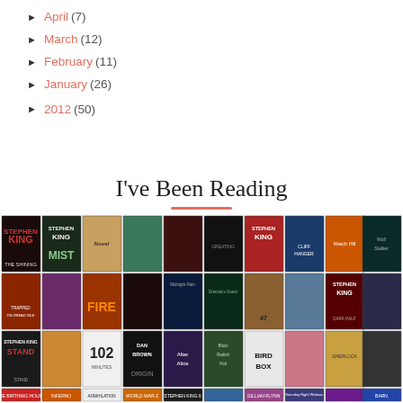► April (7)
► March (12)
► February (11)
► January (26)
► 2012 (50)
I've Been Reading
[Figure (illustration): A collage grid of approximately 40 book covers arranged in 4 rows, including titles such as The Shining, Mist, The Stand, Bird Box, World War Z, Annihilation, and others by Stephen King and various authors.]